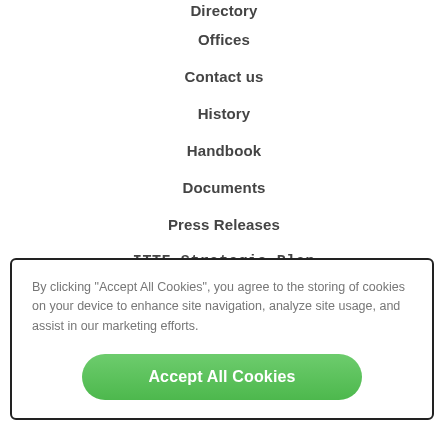Directory
Offices
Contact us
History
Handbook
Documents
Press Releases
ITTF Strategic Plan
By clicking "Accept All Cookies", you agree to the storing of cookies on your device to enhance site navigation, analyze site usage, and assist in our marketing efforts.
Accept All Cookies